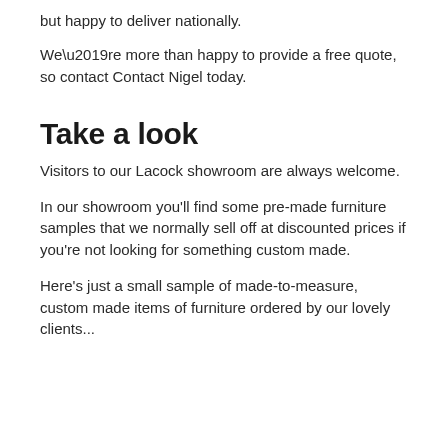but happy to deliver nationally.
We’re more than happy to provide a free quote, so contact Contact Nigel today.
Take a look
Visitors to our Lacock showroom are always welcome.
In our showroom you’ll find some pre-made furniture samples that we normally sell off at discounted prices if you’re not looking for something custom made.
Here’s just a small sample of made-to-measure, custom made items of furniture ordered by our lovely clients...